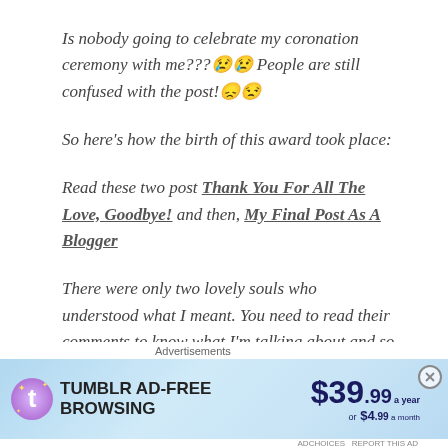Is nobody going to celebrate my coronation ceremony with me???😢😢 People are still confused with the post!😞😒
So here's how the birth of this award took place:
Read these two post Thank You For All The Love, Goodbye! and then, My Final Post As A Blogger
There were only two lovely souls who understood what I meant. You need to read their comments to know what I'm talking about and so they both get·
[Figure (screenshot): Tumblr ad-free browsing advertisement banner showing $39.99 a year or $4.99 a month pricing with Tumblr logo and colorful gradient background]